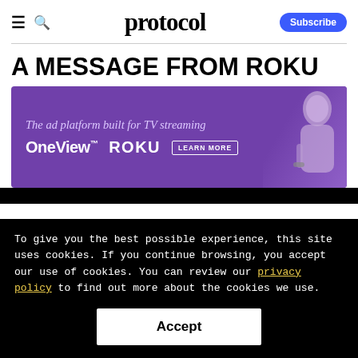≡ 🔍 protocol Subscribe
A MESSAGE FROM ROKU
[Figure (illustration): Roku OneView ad banner with purple background. Text reads: 'The ad platform built for TV streaming', 'OneView™ Roku', 'LEARN MORE' button, and a woman holding a remote control on the right side.]
To give you the best possible experience, this site uses cookies. If you continue browsing, you accept our use of cookies. You can review our privacy policy to find out more about the cookies we use.
Accept